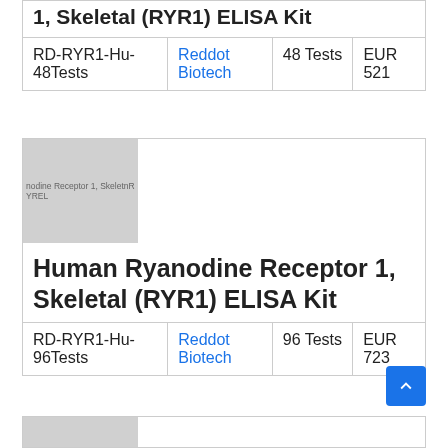| Product Code | Supplier | Quantity | Price |
| --- | --- | --- | --- |
| RD-RYR1-Hu-48Tests | Reddot Biotech | 48 Tests | EUR 521 |
[Figure (photo): Product image placeholder for Human Ryanodine Receptor 1, Skeletal (RYR1) ELISA Kit showing partial text label]
Human Ryanodine Receptor 1, Skeletal (RYR1) ELISA Kit
| Product Code | Supplier | Quantity | Price |
| --- | --- | --- | --- |
| RD-RYR1-Hu-96Tests | Reddot Biotech | 96 Tests | EUR 723 |
[Figure (photo): Product image placeholder for third product (partially visible at bottom)]